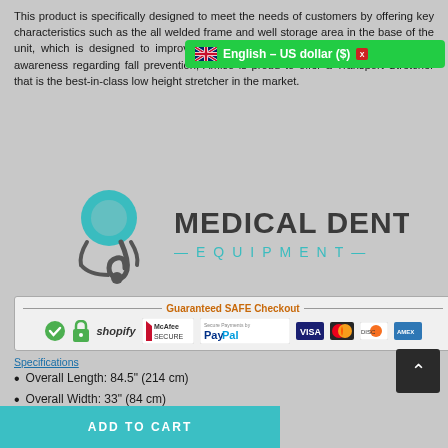This product is specifically designed to meet the needs of customers by offering key characteristics such as the all welded frame and well storage area in the base of the unit, which is designed to improve efficiency of healthcare. With the heightened awareness regarding fall prevention, Amico is proud to offer a Transport Stretcher that is the best-in-class low height stretcher in the market.
[Figure (logo): Medical Dental Equipment logo with stethoscope icon]
[Figure (infographic): Guaranteed SAFE Checkout banner showing Shopify, McAfee Secure, PayPal, Visa, Mastercard, Discover, Amex logos]
Specifications
Overall Length: 84.5" (214 cm)
Overall Width: 33" (84 cm)
Height Range: 21" (53 cm) - 33"